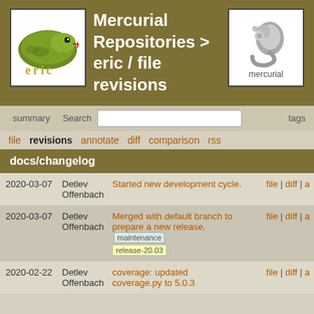[Figure (logo): Eric IDE snake logo (green snake with 'eric' text below)]
Mercurial Repositories > eric / file revisions
[Figure (logo): Mercurial logo (grey swirl/comma shapes with 'mercurial' text below)]
summary | shortlog | Search | tags
file | revisions | annotate | diff | comparison | rss
docs/changelog
| Date | Author | Description | Links |
| --- | --- | --- | --- |
| 2020-03-07 | Detlev Offenbach | Started new development cycle. | file | diff | a |
| 2020-03-07 | Detlev Offenbach | Merged with default branch to prepare a new release. [maintenance] [release-20.03] | file | diff | a |
| 2020-02-22 | Detlev Offenbach | coverage: updated coverage.py to 5.0.3 | file | diff | a |